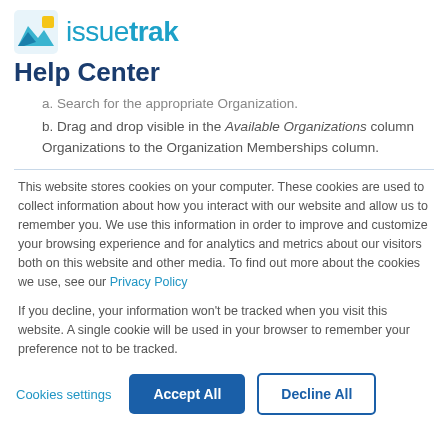issuetrak Help Center
a. Search for the appropriate Organization.
b. Drag and drop visible in the Available Organizations column Organizations to the Organization Memberships column.
This website stores cookies on your computer. These cookies are used to collect information about how you interact with our website and allow us to remember you. We use this information in order to improve and customize your browsing experience and for analytics and metrics about our visitors both on this website and other media. To find out more about the cookies we use, see our Privacy Policy
If you decline, your information won’t be tracked when you visit this website. A single cookie will be used in your browser to remember your preference not to be tracked.